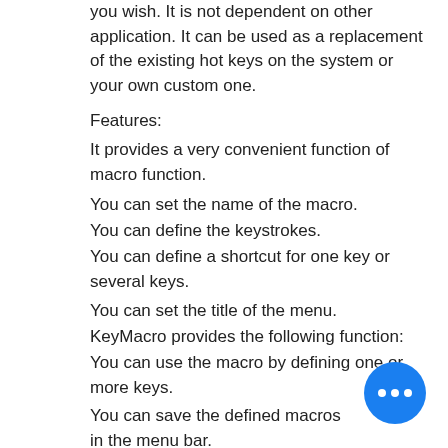you wish. It is not dependent on other application. It can be used as a replacement of the existing hot keys on the system or your own custom one.
Features:
It provides a very convenient function of macro function.
You can set the name of the macro.
You can define the keystrokes.
You can define a shortcut for one key or several keys.
You can set the title of the menu.
KeyMacro provides the following function:
You can use the macro by defining one or more keys.
You can save the defined macros in the menu bar.
You can reset the menu bar.
You can define a single or multiple menu items and the title of the menu.
KeyMacro can let you organize the keys in the applications.